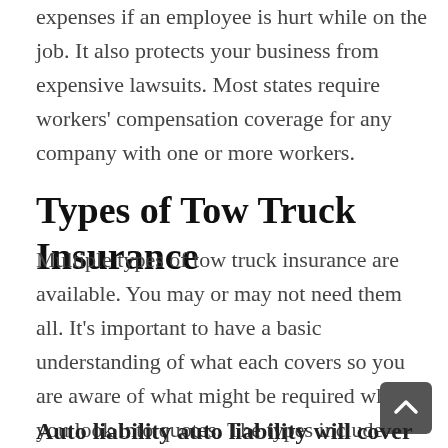expenses if an employee is hurt while on the job. It also protects your business from expensive lawsuits. Most states require workers' compensation coverage for any company with one or more workers.
Types of Tow Truck Insurance
Multiple types of tow truck insurance are available. You may or may not need them all. It's important to have a basic understanding of what each covers so you are aware of what might be required when you look into quotes. The types include:
Auto liability auto liability will cover f…